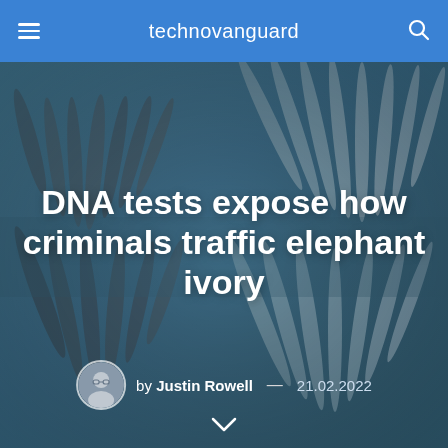technovanguard
[Figure (photo): Rows of elephant ivory tusks laid out on a flat surface, photographed with a blue-teal tinted overlay. The tusks vary in size and color from dark brown/grey to pale cream-white.]
DNA tests expose how criminals traffic elephant ivory
by Justin Rowell — 21.02.2022